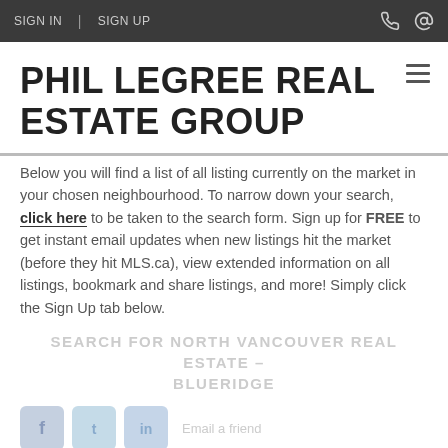SIGN IN | SIGN UP
PHIL LEGREE REAL ESTATE GROUP
Below you will find a list of all listing currently on the market in your chosen neighbourhood. To narrow down your search, click here to be taken to the search form. Sign up for FREE to get instant email updates when new listings hit the market (before they hit MLS.ca), view extended information on all listings, bookmark and share listings, and more! Simply click the Sign Up tab below.
SEARCH FOR NORTH VANCOUVER REAL ESTATE – BLUERIDGE
[Figure (infographic): Social media share buttons (Facebook, Twitter, LinkedIn) with label 'Email a friend']
PHIL